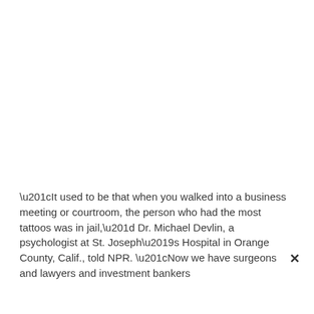“It used to be that when you walked into a business meeting or courtroom, the person who had the most tattoos was in jail,” Dr. Michael Devlin, a psychologist at St. Joseph’s Hospital in Orange County, Calif., told NPR. “Now we have surgeons and lawyers and investment bankers